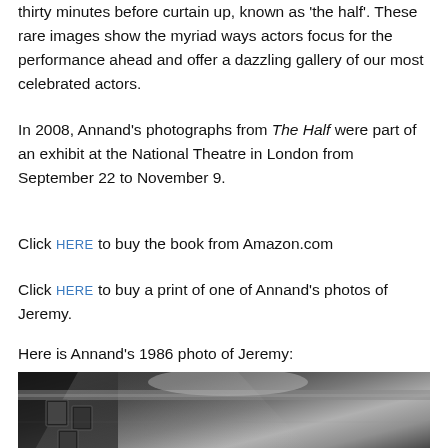thirty minutes before curtain up, known as 'the half'. These rare images show the myriad ways actors focus for the performance ahead and offer a dazzling gallery of our most celebrated actors.
In 2008, Annand's photographs from The Half were part of an exhibit at the National Theatre in London from September 22 to November 9.
Click HERE to buy the book from Amazon.com
Click HERE to buy a print of one of Annand's photos of Jeremy.
Here is Annand's 1986 photo of Jeremy:
[Figure (photo): Black and white photograph showing a dressing room mirror with photos and a bright light, partial view of Jeremy in 1986 by Annand]